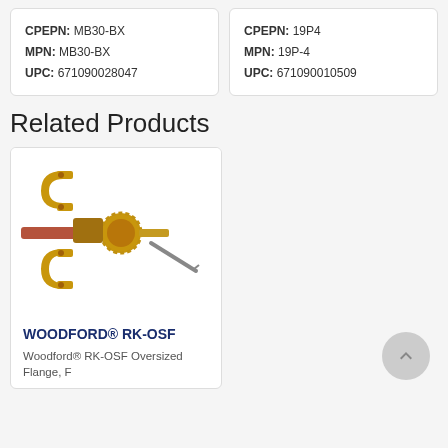CPEPN: MB30-BX
MPN: MB30-BX
UPC: 671090028047
CPEPN: 19P4
MPN: 19P-4
UPC: 671090010509
Related Products
[Figure (photo): Woodford RK-OSF Oversized Flange product showing brass valve with orange/yellow mounting flanges and a screw/bolt]
WOODFORD® RK-OSF
Woodford® RK-OSF Oversized Flange, F